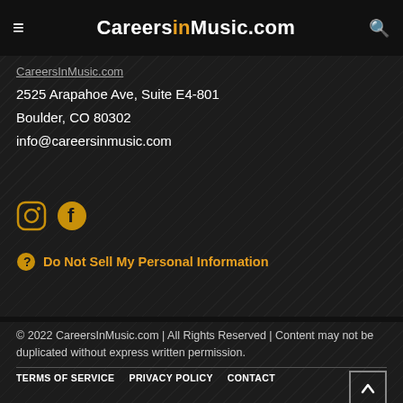CareersinMusic.com
CareersInMusic.com
2525 Arapahoe Ave, Suite E4-801
Boulder, CO 80302
info@careersinmusic.com
[Figure (illustration): Instagram and Facebook social media icons in gold/yellow color]
Do Not Sell My Personal Information
© 2022 CareersInMusic.com | All Rights Reserved | Content may not be duplicated without express written permission.
TERMS OF SERVICE   PRIVACY POLICY   CONTACT